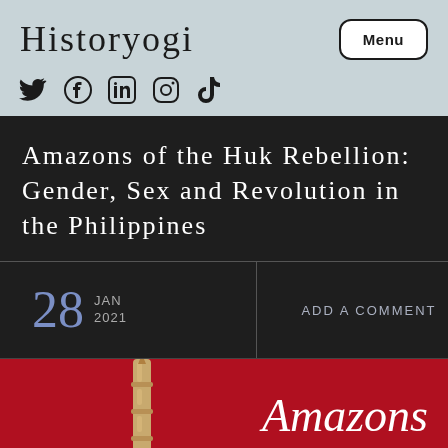Historyogi
[Figure (infographic): Social media icons: Twitter, Facebook, LinkedIn, Instagram, TikTok]
Amazons of the Huk Rebellion: Gender, Sex and Revolution in the Philippines
28 JAN 2021
ADD A COMMENT
[Figure (photo): Book cover showing bamboo scroll on red background with title 'Amazons']